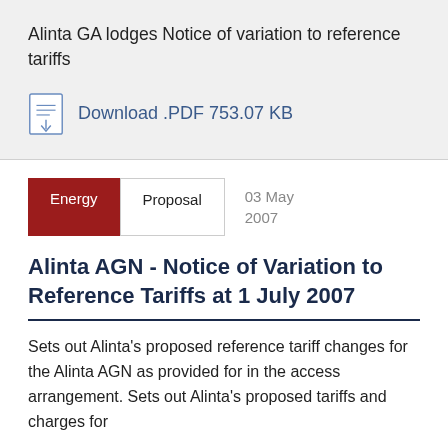Alinta GA lodges Notice of variation to reference tariffs
Download .PDF 753.07 KB
Energy   Proposal   03 May 2007
Alinta AGN - Notice of Variation to Reference Tariffs at 1 July 2007
Sets out Alinta's proposed reference tariff changes for the Alinta AGN as provided for in the access arrangement. Sets out Alinta's proposed tariffs and charges for